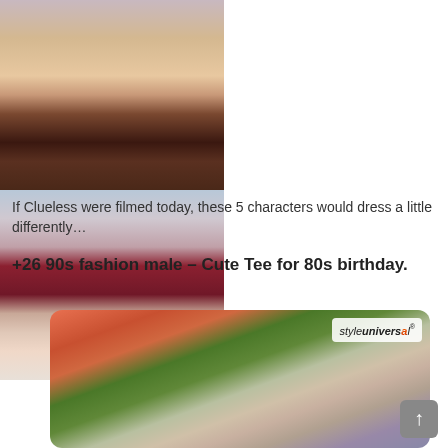[Figure (photo): Two side-by-side fashion photos cropped at thigh level showing women in dark short skirts and knee-high socks/boots, likely from the movie Clueless]
If Clueless were filmed today, these 5 characters would dress a little differently…
+26 90s fashion male – Cute Tee for 80s birthday.
[Figure (photo): Young blonde woman looking at camera, with styleuniversal watermark, colorful background with plants and building]
styleuniversal®